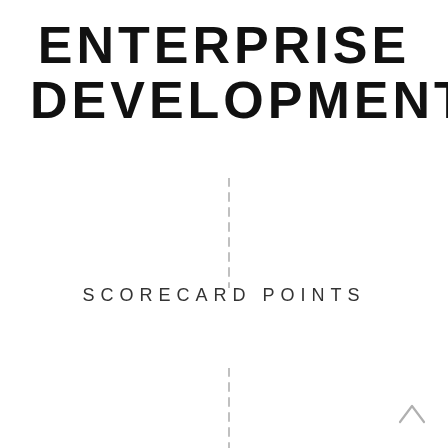ENTERPRISE DEVELOPMENT
[Figure (other): Vertical dashed line segment above scorecard points text]
SCORECARD POINTS
[Figure (other): Vertical dashed line segment below scorecard points text]
[Figure (other): Small upward-pointing caret/arrow icon in bottom right corner]